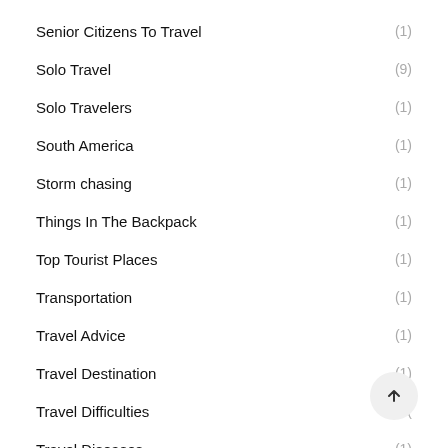Senior Citizens To Travel (1)
Solo Travel (9)
Solo Travelers (1)
South America (1)
Storm chasing (1)
Things In The Backpack (1)
Top Tourist Places (1)
Transportation (1)
Travel Advice (1)
Travel Destination (1)
Travel Difficulties (1)
Travel Diseases (1)